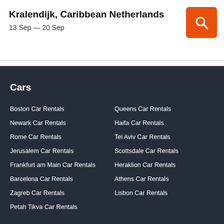Kralendijk, Caribbean Netherlands
13 Sep — 20 Sep
Cars
Boston Car Rentals
Queens Car Rentals
Newark Car Rentals
Haifa Car Rentals
Rome Car Rentals
Tel Aviv Car Rentals
Jerusalem Car Rentals
Scottsdale Car Rentals
Frankfurt am Main Car Rentals
Heraklion Car Rentals
Barcelona Car Rentals
Athens Car Rentals
Zagreb Car Rentals
Lisbon Car Rentals
Petah Tikva Car Rentals